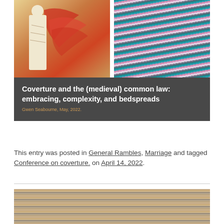[Figure (photo): Left half: medieval manuscript illustration showing a robed figure with red feathered or patterned background in golden tones. Right half: colorful striped textile or blanket in teal, pink, and neutral tones.]
Coverture and the (medieval) common law: embracing, complexity, and bedspreads
Gwen Seabourne, May, 2022.
This entry was posted in General Rambles, Marriage and tagged Conference on coverture. on April 14, 2022.
[Figure (photo): Close-up photograph of wood grain texture showing horizontal striations in warm brown, tan, and grey tones.]